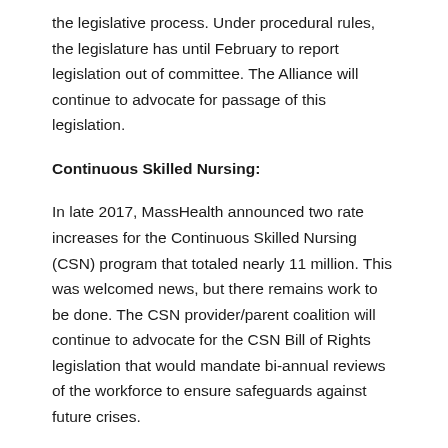the legislative process. Under procedural rules, the legislature has until February to report legislation out of committee. The Alliance will continue to advocate for passage of this legislation.
Continuous Skilled Nursing:
In late 2017, MassHealth announced two rate increases for the Continuous Skilled Nursing (CSN) program that totaled nearly 11 million. This was welcomed news, but there remains work to be done. The CSN provider/parent coalition will continue to advocate for the CSN Bill of Rights legislation that would mandate bi-annual reviews of the workforce to ensure safeguards against future crises.